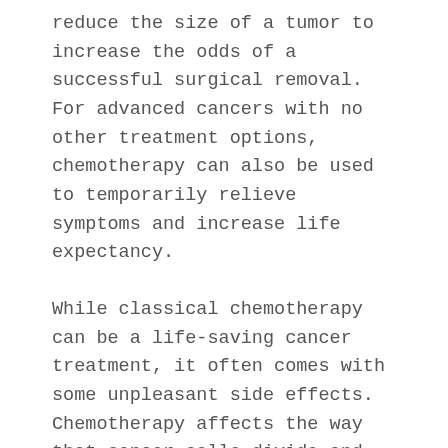reduce the size of a tumor to increase the odds of a successful surgical removal. For advanced cancers with no other treatment options, chemotherapy can also be used to temporarily relieve symptoms and increase life expectancy.
While classical chemotherapy can be a life-saving cancer treatment, it often comes with some unpleasant side effects. Chemotherapy affects the way that cancer cells divide and multiply, but it can also impact healthy cells in the process. For this reason, patients may experience nausea, hair loss or fatigue, which can make it necessary to alter daily routines or work schedules. Nevertheless, chemotherapy is still the gold standard of treatment for many forms of cancer because of its favorable outcomes. More recently